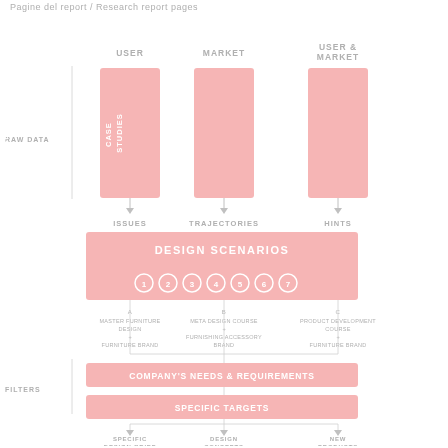Pagine del report / Research report pages
[Figure (flowchart): Flowchart showing research methodology: USER (Online Survey) → ISSUES, MARKET (Trend Research) → TRAJECTORIES, USER & MARKET (Case Studies) → HINTS, all feeding into DESIGN SCENARIOS (1-7 numbered circles), then three branches A (Master Furniture Design - Furniture Brand), B (Meta Design Course - Furnishing Accessory Brand), C (Product Development Course - Furniture Brand), filtered through COMPANY'S NEEDS & REQUIREMENTS and SPECIFIC TARGETS, leading to SPECIFIC DESIGN BRIEF, DESIGN CONCEPTS, NEW PRODUCTS. Left side labels: RAW DATA and FILTERS.]